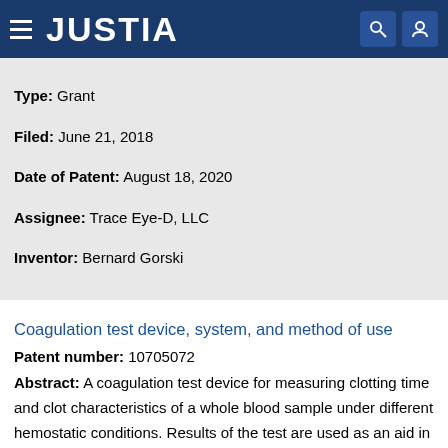JUSTIA
Type: Grant
Filed: June 21, 2018
Date of Patent: August 18, 2020
Assignee: Trace Eye-D, LLC
Inventor: Bernard Gorski
Coagulation test device, system, and method of use
Patent number: 10705072
Abstract: A coagulation test device for measuring clotting time and clot characteristics of a whole blood sample under different hemostatic conditions. Results of the test are used as an aid in management of patients with coagulopathy of unknown etiology in order to help the physician determine appropriate clinical action to arrest bleeding in a patient.
Type: Grant
Filed: November 30, 2018